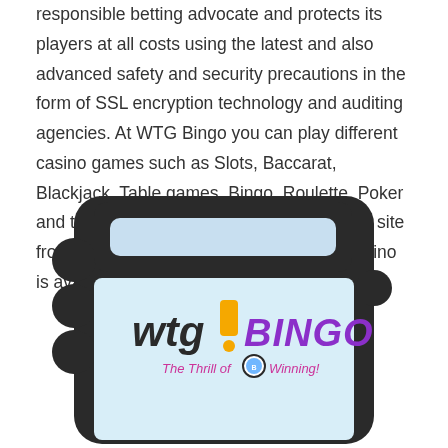responsible betting advocate and protects its players at all costs using the latest and also advanced safety and security precautions in the form of SSL encryption technology and auditing agencies. At WTG Bingo you can play different casino games such as Slots, Baccarat, Blackjack, Table games, Bingo, Roulette, Poker and there are more then 1000+ titles on the site from cracking game studios. The online casino is available in English.
[Figure (illustration): Illustration of a mobile/tablet device frame (dark rounded rectangle with decorative side protrusions) displaying the WTG Bingo logo — colorful text reading 'wtg! BINGO' with tagline 'The Thrill of Winning!' and a bingo ball graphic, on a light blue background.]